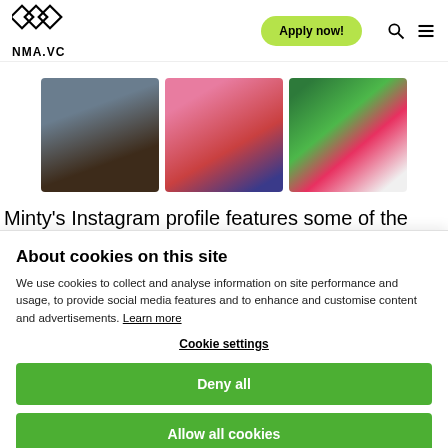NMA.VC — Apply now!
[Figure (photo): Three art images side by side: a figure in blue jeans, a painted figure with mask in red, and a colorful monster/creature painting]
Minty's Instagram profile features some of the
About cookies on this site
We use cookies to collect and analyse information on site performance and usage, to provide social media features and to enhance and customise content and advertisements. Learn more
Cookie settings
Deny all
Allow all cookies